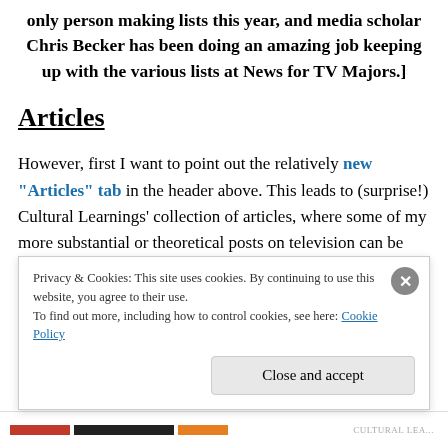only person making lists this year, and media scholar Chris Becker has been doing an amazing job keeping up with the various lists at News for TV Majors.]
Articles
However, first I want to point out the relatively new “Articles” tab in the header above. This leads to (surprise!) Cultural Learnings’ collection of articles, where some of my more substantial or theoretical posts on television can be found. These range from the early
Privacy & Cookies: This site uses cookies. By continuing to use this website, you agree to their use.
To find out more, including how to control cookies, see here: Cookie Policy